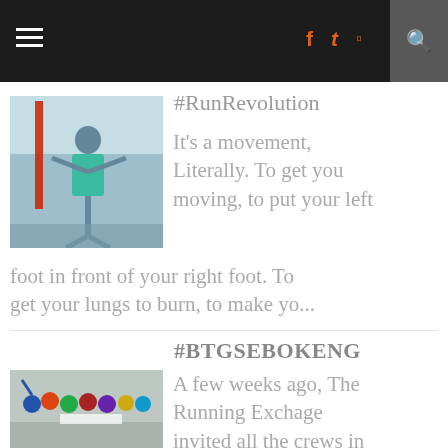≡  f  t  ⊡  🔍
#RunRevolution
[Figure (photo): Person running with arms raised at a race finish area]
It's a movement, Literally. To get you moving, to put your left foot in front of your right foot. To get your lungs to burn, to make yo...
#BTGSEBOKENG
[Figure (photo): Group of runners gathered together with a banner]
A few weeks ago, The Running Exchage invited all the crews in Johannesburg to Bridge The Gap on their streets. They normally Run Ruthle...
Leigh Gerson